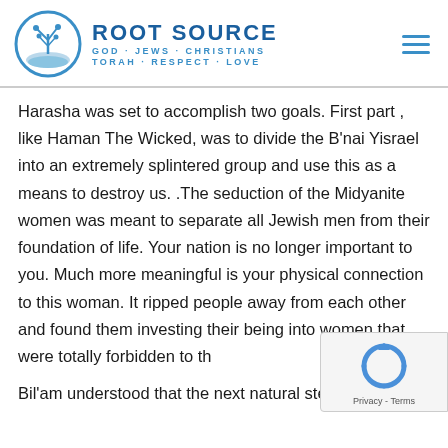ROOT SOURCE GOD · JEWS · CHRISTIANS TORAH · RESPECT · LOVE
Harasha was set to accomplish two goals. First part , like Haman The Wicked, was to divide the B'nai Yisrael into an extremely splintered group and use this as a means to destroy us. .The seduction of the Midyanite women was meant to separate all Jewish men from their foundation of life. Your nation is no longer important to you. Much more meaningful is your physical connection to this woman. It ripped people away from each other and found them investing their being into women that were totally forbidden to th
Bil'am understood that the next natural step was to